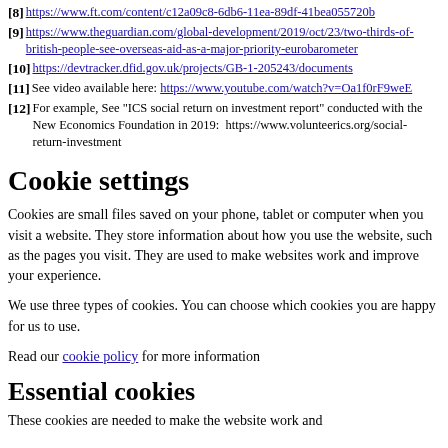[8] https://www.ft.com/content/c12a09c8-6db6-11ea-89df-41bea055720b
[9] https://www.theguardian.com/global-development/2019/oct/23/two-thirds-of-british-people-see-overseas-aid-as-a-major-priority-eurobarometer
[10] https://devtracker.dfid.gov.uk/projects/GB-1-205243/documents
[11] See video available here: https://www.youtube.com/watch?v=Oa1f0rF9weE
[12] For example, See "ICS social return on investment report" conducted with the New Economics Foundation in 2019: https://www.volunteerics.org/social-return-investment
Cookie settings
Cookies are small files saved on your phone, tablet or computer when you visit a website. They store information about how you use the website, such as the pages you visit. They are used to make websites work and improve your experience.
We use three types of cookies. You can choose which cookies you are happy for us to use.
Read our cookie policy for more information
Essential cookies
These cookies are needed to make the website work and...